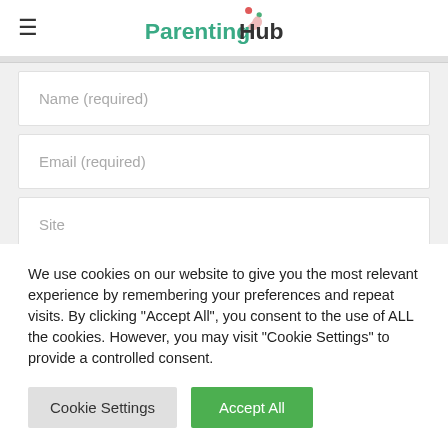ParentingHub
Name (required)
Email (required)
Site
We use cookies on our website to give you the most relevant experience by remembering your preferences and repeat visits. By clicking “Accept All”, you consent to the use of ALL the cookies. However, you may visit "Cookie Settings" to provide a controlled consent.
Cookie Settings
Accept All